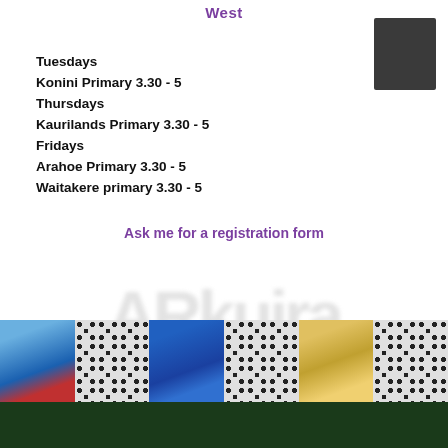West
Tuesdays
Konini Primary 3.30 - 5
Thursdays
Kaurilands Primary 3.30 - 5
Fridays
Arahoe Primary 3.30 - 5
Waitakere primary 3.30 - 5
Ask me for a registration form
[Figure (logo): Blurred logo text, appears to read a sports/activity program brand name]
[Figure (photo): Strip of photos: soccer ball patterns alternating with team group photos of children playing football, plus a dark green footer bar]